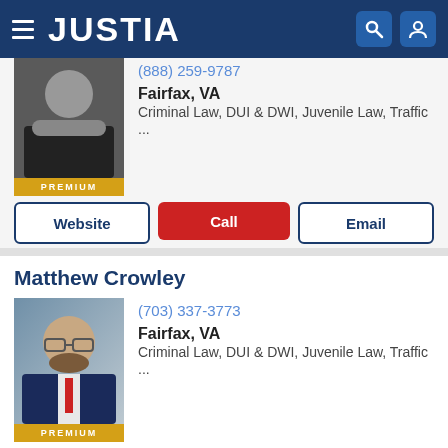JUSTIA
(888) 259-9787
Fairfax, VA
Criminal Law, DUI & DWI, Juvenile Law, Traffic ...
Website | Call | Email
Matthew Crowley
(703) 337-3773
Fairfax, VA
Criminal Law, DUI & DWI, Juvenile Law, Traffic ...
Website | Call | Email
David Lloyd